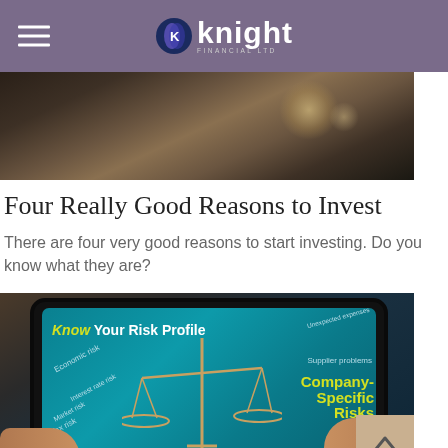Knight Financial Ltd — navigation header with logo
[Figure (photo): Blurred dark bokeh background hero image with warm golden light orb]
Four Really Good Reasons to Invest
There are four very good reasons to start investing. Do you know what they are?
[Figure (photo): Hands holding a tablet displaying 'Know Your Risk Profile' with financial risk categories including Economic risk, Interest rate risk, Tax risk, External risk, Company-Specific Risks, Supplier problems, Unexpected expenses on a teal background with balance scale graphic]